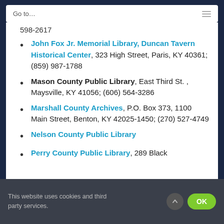Go to…
598-2617
John Fox Jr. Memorial Library, Duncan Tavern Historical Center, 323 High Street, Paris, KY 40361; (859) 987-1788
Mason County Public Library, East Third St. , Maysville, KY 41056; (606) 564-3286
Marshall County Archives, P.O. Box 373, 1100 Main Street, Benton, KY 42025-1450; (270) 527-4749
Nelson County Public Library
Perry County Public Library, 289 Black
This website uses cookies and third party services.